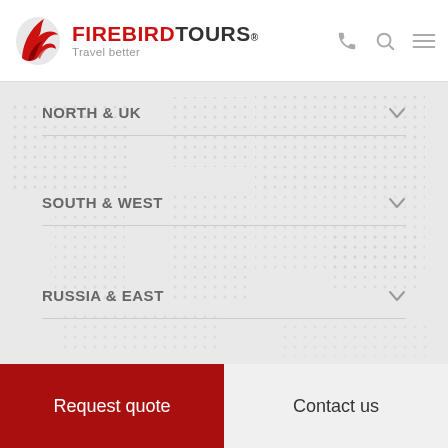FIREBIRDTOURS® Travel better
NORTH & UK
SOUTH & WEST
RUSSIA & EAST
Request quote
Contact us